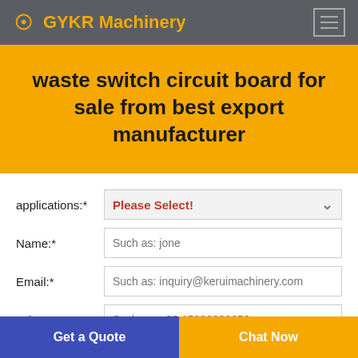GYKR Machinery
waste switch circuit board for sale from best export manufacturer
applications:* Please Select!
Name:* Such as: jone
Email:* Such as: inquiry@keruimachinery.com
Tel:* Such as: +86 15838030256
Get a Quote   Chat Now